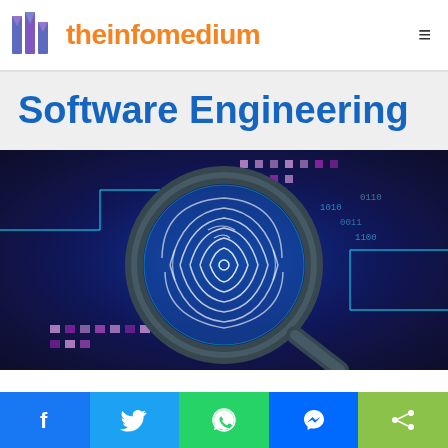theinfomedium
Software Engineering
[Figure (photo): A magnifying glass over a glowing fingerprint on a circuit board with blue and purple neon lighting and binary code, representing cybersecurity or software engineering.]
Social share bar with Facebook, Twitter, WhatsApp, Messenger, and Share buttons